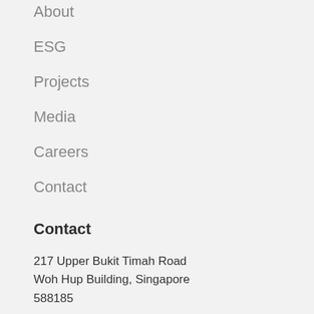About
ESG
Projects
Media
Careers
Contact
Contact
217 Upper Bukit Timah Road
Woh Hup Building, Singapore
588185
(65) 6385 8585
general@wohhup.com